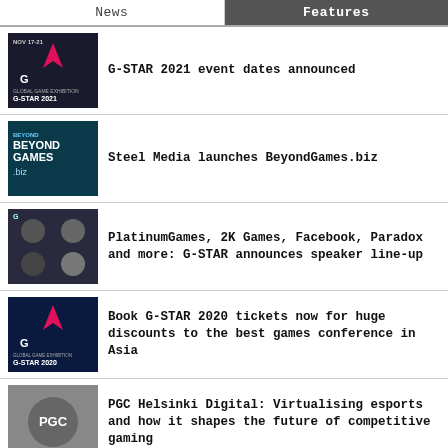News | Features
G-STAR 2021 event dates announced
Steel Media launches BeyondGames.biz
PlatinumGames, 2K Games, Facebook, Paradox and more: G-STAR announces speaker line-up
Book G-STAR 2020 tickets now for huge discounts to the best games conference in Asia
PGC Helsinki Digital: Virtualising esports and how it shapes the future of competitive gaming
See more News »
EVENTS
PDXCON 2022   Nordic   Sep 2nd